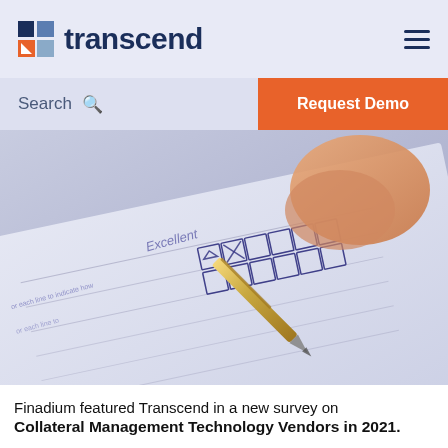[Figure (logo): Transcend company logo with colored grid icon and bold dark blue wordmark 'transcend']
[Figure (screenshot): Navigation bar with Search field and orange 'Request Demo' button]
[Figure (photo): Close-up photo of a hand holding a gold pen marking a checkbox on a survey/checklist form]
Finadium featured Transcend in a new survey on Collateral Management Technology Vendors in 2021.